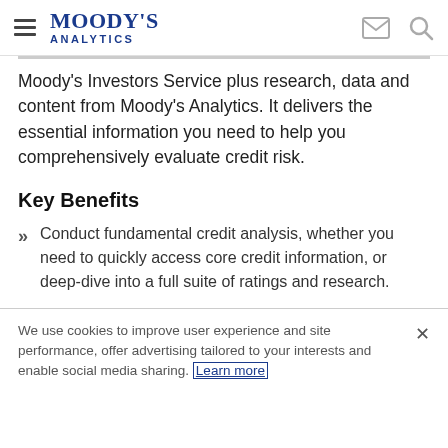Moody's Analytics
Moody's Investors Service plus research, data and content from Moody's Analytics. It delivers the essential information you need to help you comprehensively evaluate credit risk.
Key Benefits
Conduct fundamental credit analysis, whether you need to quickly access core credit information, or deep-dive into a full suite of ratings and research.
We use cookies to improve user experience and site performance, offer advertising tailored to your interests and enable social media sharing. Learn more